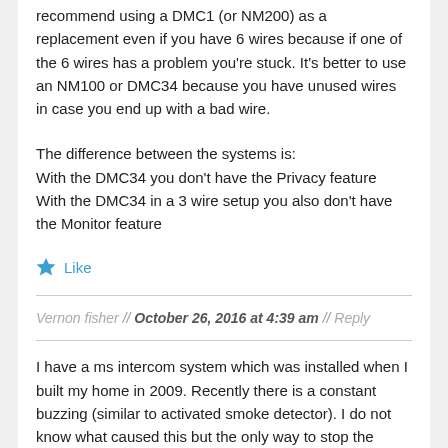recommend using a DMC1 (or NM200) as a replacement even if you have 6 wires because if one of the 6 wires has a problem you're stuck. It's better to use an NM100 or DMC34 because you have unused wires in case you end up with a bad wire.
The difference between the systems is:
With the DMC34 you don't have the Privacy feature
With the DMC34 in a 3 wire setup you also don't have the Monitor feature
Like
Vernon fisher // October 26, 2016 at 4:39 am // Reply
I have a ms intercom system which was installed when I built my home in 2009. Recently there is a constant buzzing (similar to activated smoke detector). I do not know what caused this but the only way to stop the